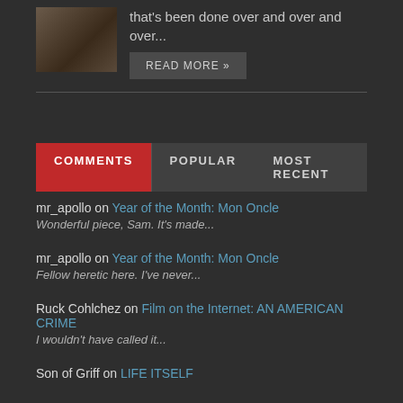[Figure (photo): Thumbnail photo of a person]
that's been done over and over and over...
READ MORE »
COMMENTS | POPULAR | MOST RECENT
mr_apollo on Year of the Month: Mon Oncle
Wonderful piece, Sam. It's made...
mr_apollo on Year of the Month: Mon Oncle
Fellow heretic here. I've never...
Ruck Cohlchez on Film on the Internet: AN AMERICAN CRIME
I wouldn't have called it...
Son of Griff on LIFE ITSELF